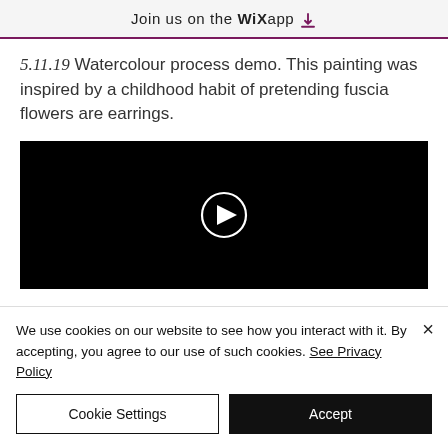Join us on the WiX app ⬇
5.11.19 Watercolour process demo. This painting was inspired by a childhood habit of pretending fuscia flowers are earrings.
[Figure (screenshot): Black video player with a white circular play button in the center]
We use cookies on our website to see how you interact with it. By accepting, you agree to our use of such cookies. See Privacy Policy
Cookie Settings | Accept